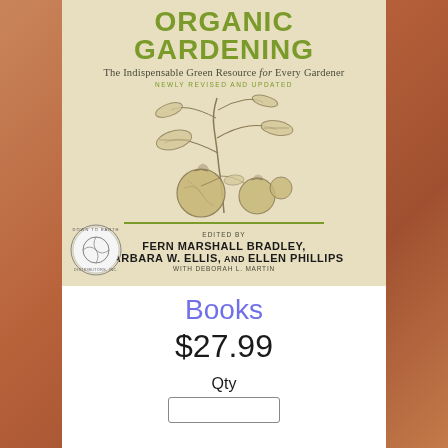[Figure (illustration): Book cover of Organic Gardening: The Indispensable Green Resource for Every Gardener, Newly Revised and Updated, edited by Fern Marshall Bradley, Barbara W. Ellis, and Ellen Phillips, with Deborah L. Martin. Beige/cream background with a botanical illustration of a tomato plant. Down to Earth logo in bottom-left corner of cover.]
Books
$27.99
Qty